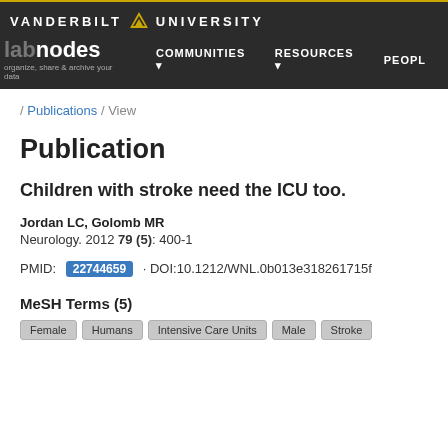VANDERBILT UNIVERSITY — labnodes — organize, share & archive your data — COMMUNITIES — RESOURCES — PEOPLE
/ Publications / View
Publication
Children with stroke need the ICU too.
Jordan LC, Golomb MR
Neurology. 2012 79 (5): 400-1
PMID: 22744659 · DOI:10.1212/WNL.0b013e318261715f
MeSH Terms (5)
Female
Humans
Intensive Care Units
Male
Stroke